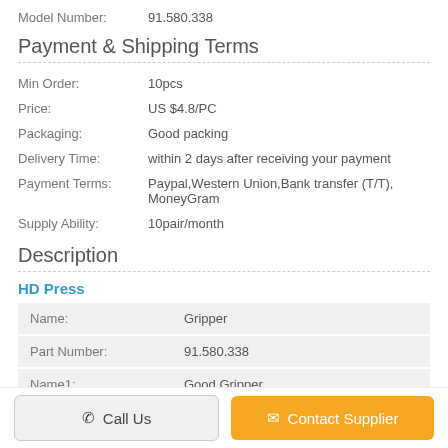Model Number: 91.580.338
Payment & Shipping Terms
| Min Order: | 10pcs |
| Price: | US $4.8/PC |
| Packaging: | Good packing |
| Delivery Time: | within 2 days after receiving your payment |
| Payment Terms: | Paypal,Western Union,Bank transfer (T/T), MoneyGram |
| Supply Ability: | 10pair/month |
Description
HD Press
| Name: | Gripper |
| Part Number: | 91.580.338 |
| Name1: | Good Gripper |
Call Us
Contact Supplier